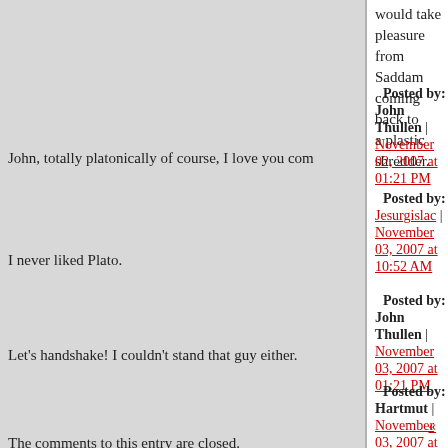would take pleasure from Saddam coming back to a plastic shredder.
Posted by: John Thullen | November 02, 2007 at 01:21 PM
John, totally platonically of course, I love you com...
Posted by: Jesurgislac | November 03, 2007 at 10:52 AM
I never liked Plato.
Posted by: John Thullen | November 03, 2007 at 01:21 PM
Let's handshake! I couldn't stand that guy either.
Posted by: Hartmut | November 03, 2007 at 01:27 PM
«
The comments to this entry are closed.